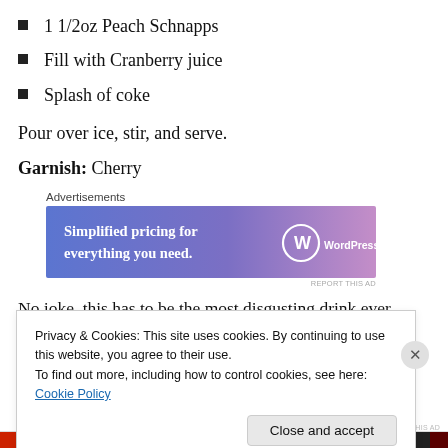1 1/2oz Peach Schnapps
Fill with Cranberry juice
Splash of coke
Pour over ice, stir, and serve.
Garnish: Cherry
[Figure (screenshot): WordPress.com advertisement banner: 'Simplified pricing for everything you need.' with WordPress.com logo on blue-to-pink gradient background]
No joke, this has to be the most disgusting drink ever
Privacy & Cookies: This site uses cookies. By continuing to use this website, you agree to their use.
To find out more, including how to control cookies, see here: Cookie Policy